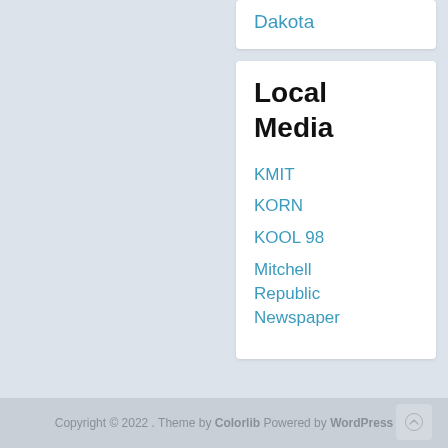Dakota
Local Media
KMIT
KORN
KOOL 98
Mitchell Republic Newspaper
Copyright © 2022 . Theme by Colorlib Powered by WordPress